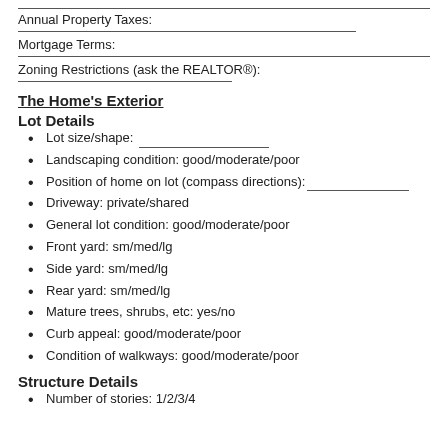Annual Property Taxes:
Mortgage Terms:
Zoning Restrictions (ask the REALTOR®):
The Home's Exterior
Lot Details
Lot size/shape:
Landscaping condition: good/moderate/poor
Position of home on lot (compass directions):
Driveway: private/shared
General lot condition: good/moderate/poor
Front yard: sm/med/lg
Side yard: sm/med/lg
Rear yard: sm/med/lg
Mature trees, shrubs, etc: yes/no
Curb appeal: good/moderate/poor
Condition of walkways: good/moderate/poor
Structure Details
Number of stories: 1/2/3/4